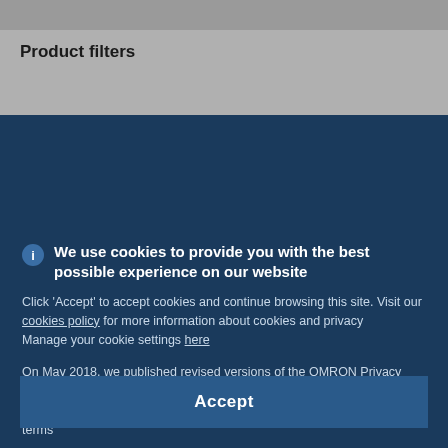Product filters
Common features
We use cookies to provide you with the best possible experience on our website
Click 'Accept' to accept cookies and continue browsing this site. Visit our cookies policy for more information about cookies and privacy
Manage your cookie settings here
On May 2018, we published revised versions of the OMRON Privacy Policy and Cookie Policy. Please read these updated terms by clicking here. Your use of our products and services is subject to these revised terms
Accept